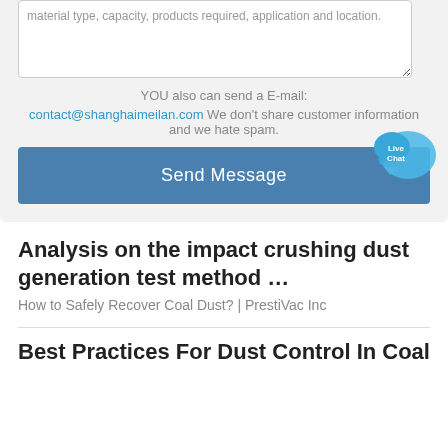material type, capacity, products required, application and location.
YOU also can send a E-mail:
contact@shanghaimeilan.com We don't share customer information and we hate spam.
Send Message
Analysis on the impact crushing dust generation test method …
How to Safely Recover Coal Dust? | PrestiVac Inc
Best Practices For Dust Control In Coal